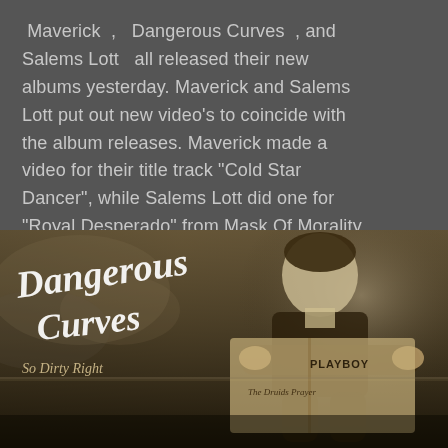Maverick , Dangerous Curves , and Salems Lott all released their new albums yesterday. Maverick and Salems Lott put out new video's to coincide with the album releases. Maverick made a video for their title track "Cold Star Dancer", while Salems Lott did one for "Royal Desperado" from Mask Of Morality.
[Figure (illustration): Album cover art for 'Dangerous Curves - So Dirty Right'. Black and white / sepia toned image of a young boy reading a Playboy magazine (labelled 'The Druids Prayer'). Overlaid with a cursive 'Dangerous Curves' logo and the subtitle 'So Dirty Right' in decorative script.]